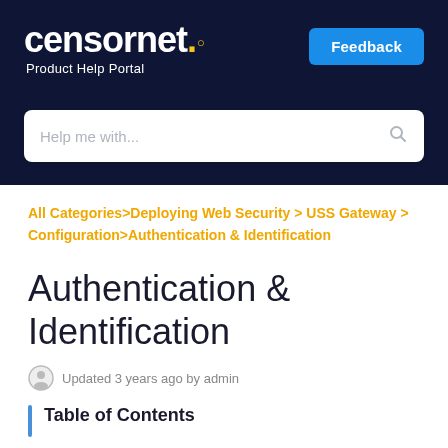censornet. Product Help Portal
Feedback
Help me with...
All Categories>Deploying Web Security > USS Gateway > Configuration>Authentication & Identification
Authentication & Identification
Updated 3 years ago by admin
Table of Contents